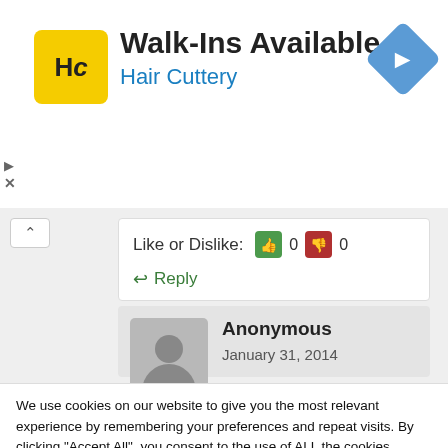[Figure (logo): Hair Cuttery ad banner with HC logo, Walk-Ins Available heading, and navigation icon]
Walk-Ins Available
Hair Cuttery
Like or Dislike: 0 0
Reply
Anonymous
January 31, 2014
We use cookies on our website to give you the most relevant experience by remembering your preferences and repeat visits. By clicking "Accept All", you consent to the use of ALL the cookies. However, you may visit "Cookie Settings" to provide a controlled consent. Read More
Cookie Settings
Accept All